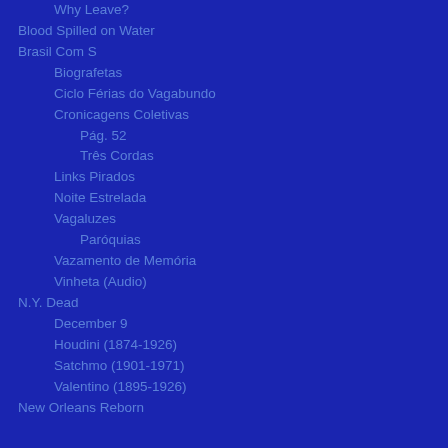Why Leave?
Blood Spilled on Water
Brasil Com S
Biografetas
Ciclo Férias do Vagabundo
Cronicagens Coletivas
Pág. 52
Três Cordas
Links Pirados
Noite Estrelada
Vagaluzes
Paróquias
Vazamento de Memória
Vinheta (Audio)
N.Y. Dead
December 9
Houdini (1874-1926)
Satchmo (1901-1971)
Valentino (1895-1926)
New Orleans Reborn